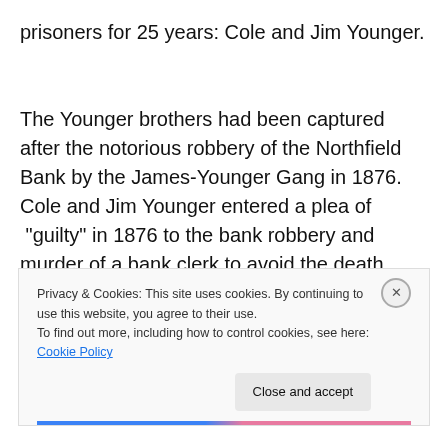prisoners for 25 years: Cole and Jim Younger.

The Younger brothers had been captured after the notorious robbery of the Northfield Bank by the James-Younger Gang in 1876. Cole and Jim Younger entered a plea of “guilty” in 1876 to the bank robbery and murder of a bank clerk to avoid the death penalty. If they had pleaded “not guilty” and been convicted, they could have
Privacy & Cookies: This site uses cookies. By continuing to use this website, you agree to their use.
To find out more, including how to control cookies, see here: Cookie Policy
Close and accept